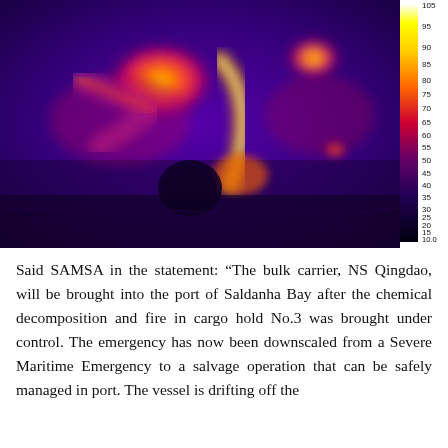[Figure (photo): Thermal infrared image of a burning or hot cargo ship hold area, showing bright orange and yellow heat signatures against a purple/dark background. A vertical colorbar on the right side shows the temperature scale ranging from approximately 10.0 to 105, with colors from dark (cool) to yellow/white (hot).]
Said SAMSA in the statement: “The bulk carrier, NS Qingdao, will be brought into the port of Saldanha Bay after the chemical decomposition and fire in cargo hold No.3 was brought under control. The emergency has now been downscaled from a Severe Maritime Emergency to a salvage operation that can be safely managed in port. The vessel is drifting off the